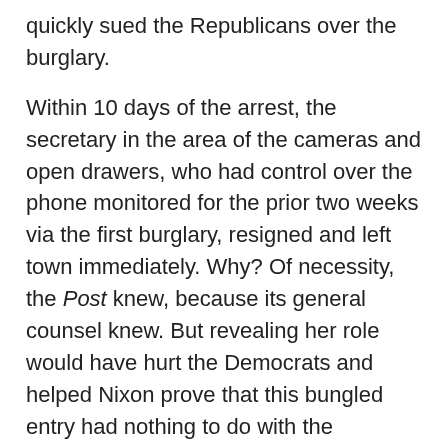quickly sued the Republicans over the burglary. Within 10 days of the arrest, the secretary in the area of the cameras and open drawers, who had control over the phone monitored for the prior two weeks via the first burglary, resigned and left town immediately. Why? Of necessity, the Post knew, because its general counsel knew. But revealing her role would have hurt the Democrats and helped Nixon prove that this bungled entry had nothing to do with the campaign.